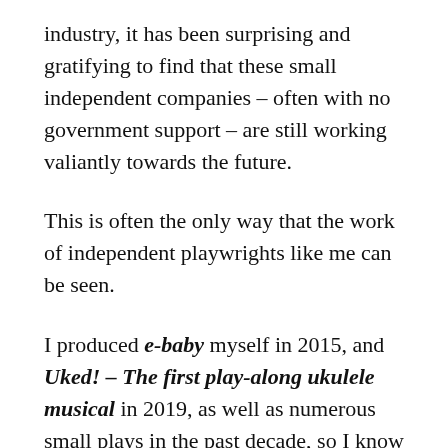industry, it has been surprising and gratifying to find that these small independent companies – often with no government support – are still working valiantly towards the future.
This is often the only way that the work of independent playwrights like me can be seen.
I produced e-baby myself in 2015, and Uked! – The first play-along ukulele musical in 2019, as well as numerous small plays in the past decade, so I know how challenging producing can be in the best of times.
I'm also grateful to Stagescripts and small independent publishing and licensing